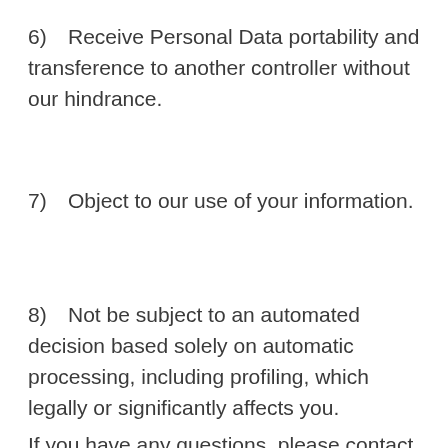6)    Receive Personal Data portability and transference to another controller without our hindrance.
7)    Object to our use of your information.
8)    Not be subject to an automated decision based solely on automatic processing, including profiling, which legally or significantly affects you.
If you have any questions, please contact us at...